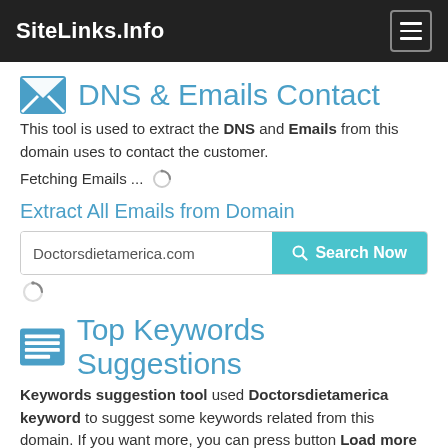SiteLinks.Info
DNS & Emails Contact
This tool is used to extract the DNS and Emails from this domain uses to contact the customer.
Fetching Emails ...
Extract All Emails from Domain
Doctorsdietamerica.com
Top Keywords Suggestions
Keywords suggestion tool used Doctorsdietamerica keyword to suggest some keywords related from this domain. If you want more, you can press button Load more »
Bing  Yahoo  Google  Amazone